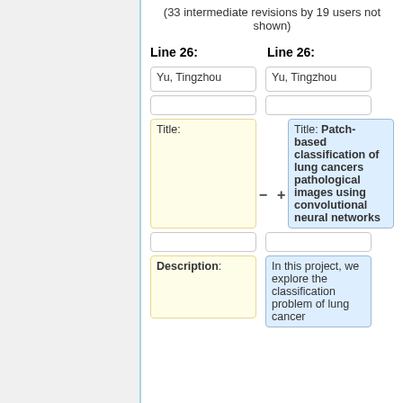(33 intermediate revisions by 19 users not shown)
Line 26:
Line 26:
Yu, Tingzhou
Yu, Tingzhou
Title:
Title: Patch-based classification of lung cancers pathological images using convolutional neural networks
Description:
In this project, we explore the classification problem of lung cancer